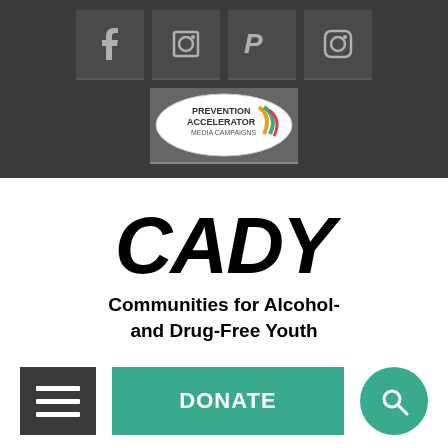[Figure (screenshot): Dark header bar with social media icons (Facebook, unknown, PayPal, Instagram) and a Prevention Accelerator Media Campaigns logo badge]
[Figure (logo): CADY logo — large bold italic black text 'CADY' with tagline 'Communities for Alcohol- and Drug-Free Youth']
[Figure (screenshot): Navigation bar with hamburger menu button (dark gray), DONATE button (teal/green), and search icon button (teal/green circle)]
employments over 200 ready activities since 2005 and was recognized by the White House in 2012 as a public/private partnership to emulate across the country.